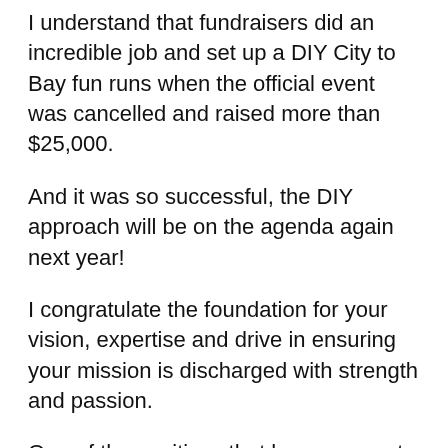I understand that fundraisers did an incredible job and set up a DIY City to Bay fun runs when the official event was cancelled and raised more than $25,000.
And it was so successful, the DIY approach will be on the agenda again next year!
I congratulate the foundation for your vision, expertise and drive in ensuring your mission is discharged with strength and passion.
One of the positives that has come out of the pandemic, I believe, is how we have banded together as a community for the community good.
To the donors we are recognising tonight, thank you for being a heartfelt part of that community